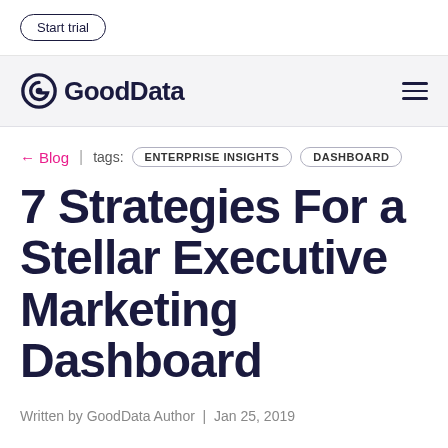Start trial
[Figure (logo): GoodData logo with circular G icon and text 'GoodData']
← Blog | tags: ENTERPRISE INSIGHTS DASHBOARD
7 Strategies For a Stellar Executive Marketing Dashboard
Written by GoodData Author | Jan 25, 2019